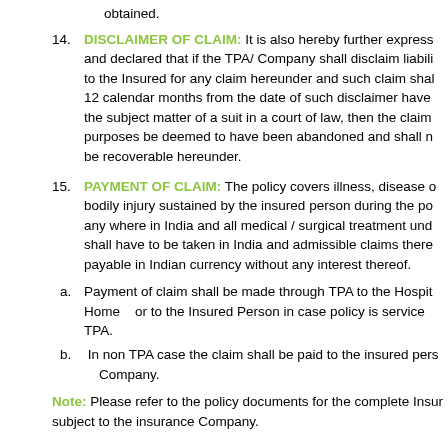obtained.
14. DISCLAIMER OF CLAIM: It is also hereby further expressed and declared that if the TPA/ Company shall disclaim liability to the Insured for any claim hereunder and such claim shall 12 calendar months from the date of such disclaimer have the subject matter of a suit in a court of law, then the claim purposes be deemed to have been abandoned and shall not be recoverable hereunder.
15. PAYMENT OF CLAIM: The policy covers illness, disease or bodily injury sustained by the insured person during the policy any where in India and all medical / surgical treatment under shall have to be taken in India and admissible claims there- payable in Indian currency without any interest thereof.
a. Payment of claim shall be made through TPA to the Hospital/ Home or to the Insured Person in case policy is serviced TPA.
b. In non TPA case the claim shall be paid to the insured person Company.
Note: Please refer to the policy documents for the complete Insurance subject to the insurance Company.